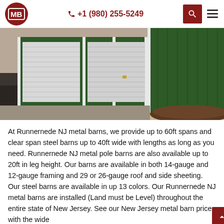CMB logo | +1 (980) 255-5249 | search | menu
[Figure (photo): Green metal barn building with white roll-up garage doors, photographed from outside on a gravel driveway with trees in background]
At Runnernede NJ metal barns, we provide up to 60ft spans and clear span steel barns up to 40ft wide with lengths as long as you need. Runnernede NJ metal pole barns are also available up to 20ft in leg height. Our barns are available in both 14-gauge and 12-gauge framing and 29 or 26-gauge roof and side sheeting. Our steel barns are available in up 13 colors. Our Runnernede NJ metal barns are installed (Land must be Level) throughout the entire state of New Jersey. See our New Jersey metal barn prices with the wide